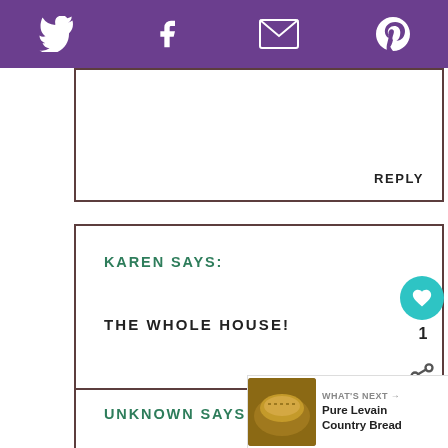Twitter | Facebook | Email | Pinterest
REPLY
KAREN SAYS:
THE WHOLE HOUSE!
UNKNOWN SAYS:
WHAT SIZE DUCH OVEN KAREN HAVE ONLY A 3QURT OR 6QURT